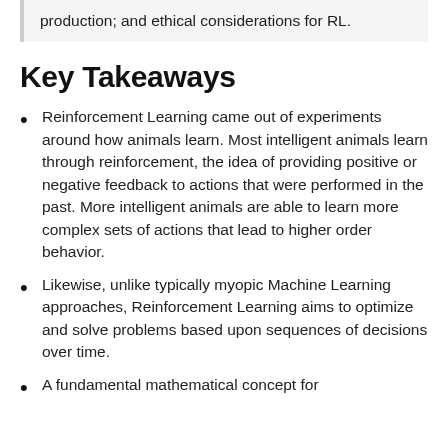production; and ethical considerations for RL.
Key Takeaways
Reinforcement Learning came out of experiments around how animals learn. Most intelligent animals learn through reinforcement, the idea of providing positive or negative feedback to actions that were performed in the past. More intelligent animals are able to learn more complex sets of actions that lead to higher order behavior.
Likewise, unlike typically myopic Machine Learning approaches, Reinforcement Learning aims to optimize and solve problems based upon sequences of decisions over time.
A fundamental mathematical concept for